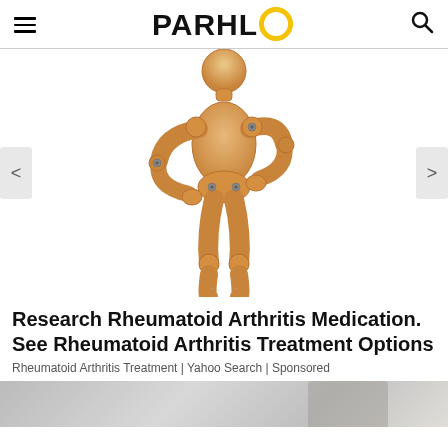PARHLO
[Figure (illustration): A wooden artist mannequin / manikin figure posed with both arms bent at the elbows and hands placed on hips/sides, suggesting back or joint pain. White background. Navigation arrows visible on left and right sides.]
Research Rheumatoid Arthritis Medication. See Rheumatoid Arthritis Treatment Options
Rheumatoid Arthritis Treatment | Yahoo Search | Sponsored
[Figure (photo): Partial view of a second image at the bottom of the page, showing a light grey textured surface, partially cut off.]